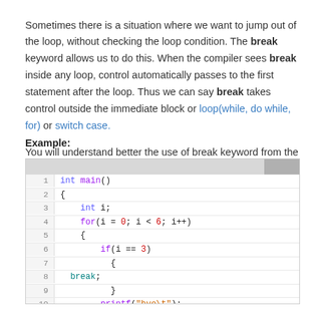Sometimes there is a situation where we want to jump out of the loop, without checking the loop condition. The break keyword allows us to do this. When the compiler sees break inside any loop, control automatically passes to the first statement after the loop. Thus we can say break takes control outside the immediate block or loop(while, do while, for) or switch case.
You will understand better the use of break keyword from the following example:
Example:
[Figure (screenshot): Code block showing a C program with line numbers 1-12. The code defines int main() with a for loop (i = 0; i < 6; i++) containing an if(i == 3) statement with a break, and a printf("bye\t") call.]